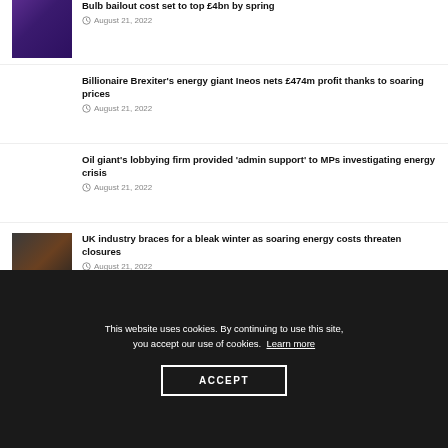[Figure (photo): Phone screen with purple/dark app display]
Bulb bailout cost set to top £4bn by spring
August 21, 2022
Billionaire Brexiter's energy giant Ineos nets £474m profit thanks to soaring prices
August 21, 2022
Oil giant's lobbying firm provided 'admin support' to MPs investigating energy crisis
August 21, 2022
[Figure (photo): Person working near fire/furnace in dark industrial setting]
UK industry braces for a bleak winter as soaring energy costs threaten closures
August 21, 2022
This website uses cookies. By continuing to use this site, you accept our use of cookies. Learn more
ACCEPT